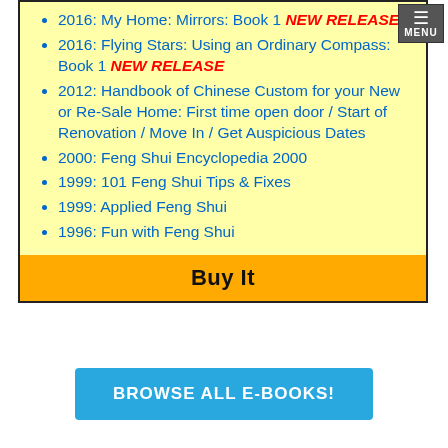2016: My Home: Mirrors: Book 1 NEW RELEASE
2016: Flying Stars: Using an Ordinary Compass: Book 1 NEW RELEASE
2012: Handbook of Chinese Custom for your New or Re-Sale Home: First time open door / Start of Renovation / Move In / Get Auspicious Dates
2000: Feng Shui Encyclopedia 2000
1999: 101 Feng Shui Tips & Fixes
1999: Applied Feng Shui
1996: Fun with Feng Shui
Buy It
BROWSE ALL E-BOOKS!